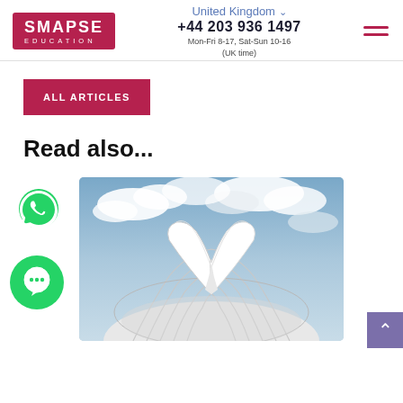Smapse Education | United Kingdom | +44 203 936 1497 | Mon-Fri 8-17, Sat-Sun 10-16 (UK time)
ALL ARTICLES
Read also...
[Figure (photo): Architectural photo of a modern white sculptural building with wing-like or butterfly-shaped white structure on top, against a cloudy blue sky]